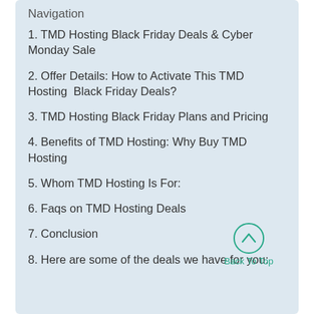Navigation
1. TMD Hosting Black Friday Deals & Cyber Monday Sale
2. Offer Details: How to Activate This TMD Hosting Black Friday Deals?
3. TMD Hosting Black Friday Plans and Pricing
4. Benefits of TMD Hosting: Why Buy TMD Hosting
5. Whom TMD Hosting Is For:
6. Faqs on TMD Hosting Deals
7. Conclusion
8. Here are some of the deals we have for you: